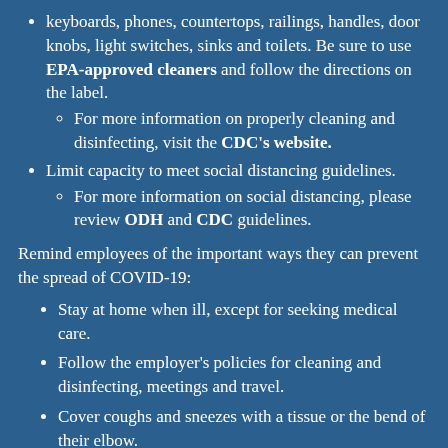keyboards, phones, countertops, railings, handles, door knobs, light switches, sinks and toilets. Be sure to use EPA-approved cleaners and follow the directions on the label.
For more information on properly cleaning and disinfecting, visit the CDC's website.
Limit capacity to meet social distancing guidelines.
For more information on social distancing, please review ODH and CDC guidelines.
Remind employees of the important ways they can prevent the spread of COVID-19:
Stay at home when ill, except for seeking medical care.
Follow the employer's policies for cleaning and disinfecting, meetings and travel.
Cover coughs and sneezes with a tissue or the bend of their elbow.
Frequently wash their hands for at least 20